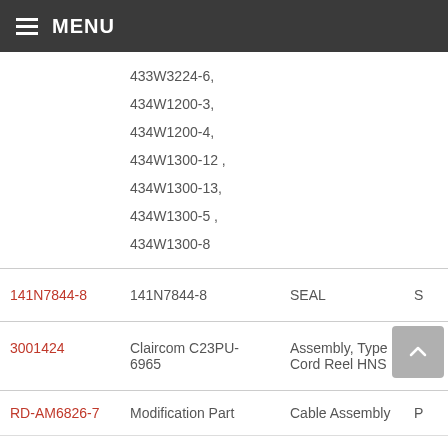MENU
| Part Number | Part Number | Description |  |
| --- | --- | --- | --- |
|  | 433W3224-6, 434W1200-3, 434W1200-4, 434W1300-12, 434W1300-13, 434W1300-5, 434W1300-8 |  |  |
| 141N7844-8 | 141N7844-8 | SEAL | S |
| 3001424 | Claircom C23PU-6965 | Assembly, Type 2 Cord Reel HNS | E |
| RD-AM6826-7 | Modification Part | Cable Assembly | P |